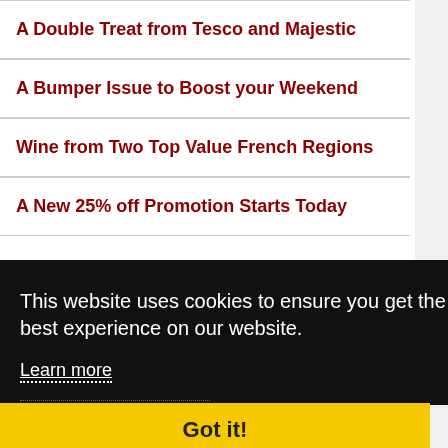A Double Treat from Tesco and Majestic
A Bumper Issue to Boost your Weekend
Wine from Two Top Value French Regions
A New 25% off Promotion Starts Today
LATEST FROM TWITTER
Tweets by @midweekwines
This website uses cookies to ensure you get the best experience on our website.
Learn more
Got it!